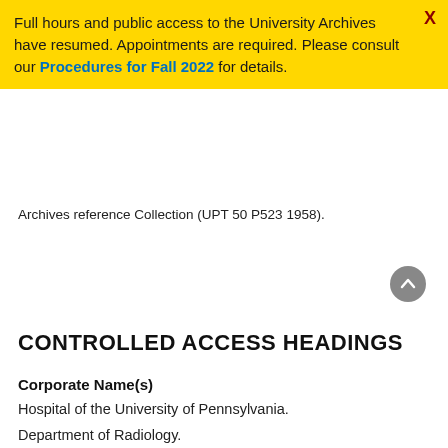Full hours and public access to the University Archives have resumed. Appointments are required. Please consult our Procedures for Fall 2022 for details.
Archives reference Collection (UPT 50 P523 1958).
CONTROLLED ACCESS HEADINGS
Corporate Name(s)
Hospital of the University of Pennsylvania.
Department of Radiology.
Medico-Chirurgical College of Philadelphia.
Philadelphia General Hospital.
Personal Name(s)
Pendergrass, Eugene P., (Eugene Percival), 1895-